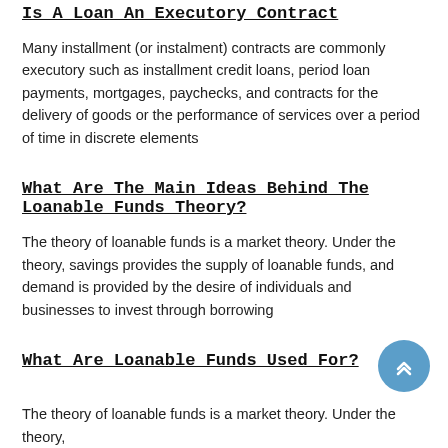Is A Loan An Executory Contract
Many installment (or instalment) contracts are commonly executory such as installment credit loans, period loan payments, mortgages, paychecks, and contracts for the delivery of goods or the performance of services over a period of time in discrete elements
What Are The Main Ideas Behind The Loanable Funds Theory?
The theory of loanable funds is a market theory. Under the theory, savings provides the supply of loanable funds, and demand is provided by the desire of individuals and businesses to invest through borrowing
What Are Loanable Funds Used For?
The theory of loanable funds is a market theory. Under the theory,